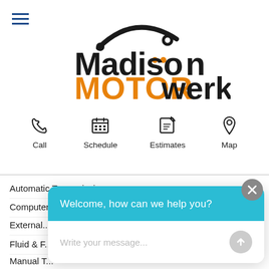[Figure (logo): Madison Motor Werks logo with car silhouette and orange MOTOR text]
[Figure (infographic): Navigation icons row: Call (phone icon), Schedule (calendar icon), Estimates (pencil/edit icon), Map (location pin icon)]
Automatic Transmission
Computer Diagnosis
External...
Fluid & F...
Manual T...
Performa...
Transmission Adjustment
[Figure (screenshot): Chat widget overlay with teal header saying 'Welcome, how can we help you?' and white message input area with placeholder text 'Write your message...' and gray send button]